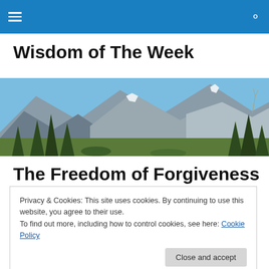Navigation bar with hamburger menu and search icon
Wisdom of The Week
[Figure (photo): Mountain landscape with pine trees, rocky peaks, and a clear blue sky]
The Freedom of Forgiveness
Privacy & Cookies: This site uses cookies. By continuing to use this website, you agree to their use.
To find out more, including how to control cookies, see here: Cookie Policy
golden buzzer automatically advancing Brandon to the live rounds.  In